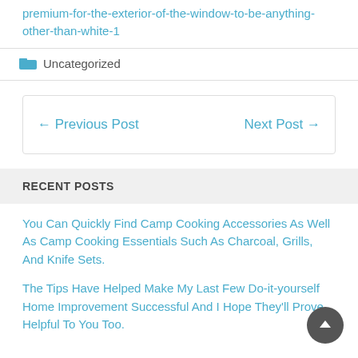premium-for-the-exterior-of-the-window-to-be-anything-other-than-white-1
Uncategorized
← Previous Post    Next Post →
RECENT POSTS
You Can Quickly Find Camp Cooking Accessories As Well As Camp Cooking Essentials Such As Charcoal, Grills, And Knife Sets.
The Tips Have Helped Make My Last Few Do-it-yourself Home Improvement Successful And I Hope They'll Prove Helpful To You Too.